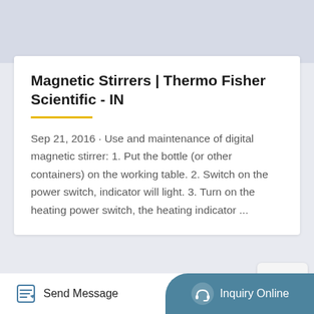Magnetic Stirrers | Thermo Fisher Scientific - IN
Sep 21, 2016 · Use and maintenance of digital magnetic stirrer: 1. Put the bottle (or other containers) on the working table. 2. Switch on the power switch, indicator will light. 3. Turn on the heating power switch, the heating indicator ...
[Figure (photo): Close-up photo of a white magnetic stirrer device surface, showing the smooth curved edge of the appliance.]
Send Message
Inquiry Online